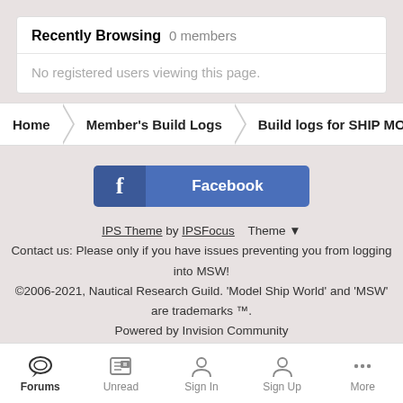Recently Browsing   0 members
No registered users viewing this page.
Home   Member's Build Logs   Build logs for SHIP MODEL KITS -
[Figure (other): Facebook button with 'f' icon on left and 'Facebook' label on right, dark blue color]
IPS Theme by IPSFocus   Theme ▼
Contact us: Please only if you have issues preventing you from logging into MSW!
©2006-2021, Nautical Research Guild. 'Model Ship World' and 'MSW' are trademarks ™.
Powered by Invision Community
Forums   Unread   Sign In   Sign Up   More